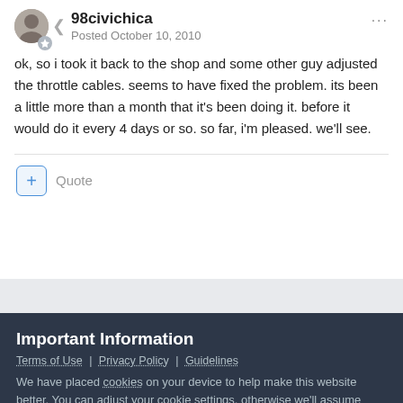98civichica
Posted October 10, 2010
ok, so i took it back to the shop and some other guy adjusted the throttle cables. seems to have fixed the problem. its been a little more than a month that it's been doing it. before it would do it every 4 days or so. so far, i'm pleased. we'll see.
Quote
Important Information
Terms of Use | Privacy Policy | Guidelines
We have placed cookies on your device to help make this website better. You can adjust your cookie settings, otherwise we'll assume you're okay to continue.
✓  I accept